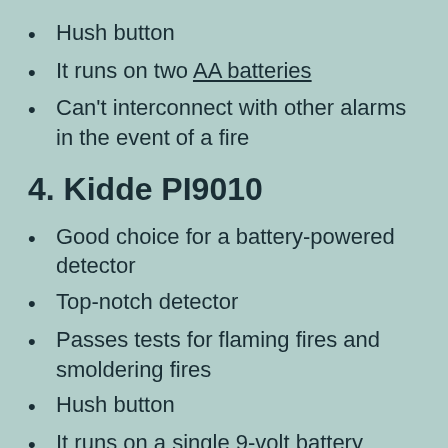Hush button
It runs on two AA batteries
Can't interconnect with other alarms in the event of a fire
4. Kidde PI9010
Good choice for a battery-powered detector
Top-notch detector
Passes tests for flaming fires and smoldering fires
Hush button
It runs on a single 9-volt battery